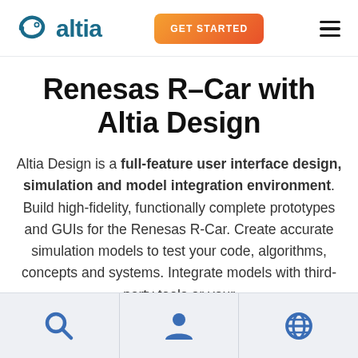Altia — GET STARTED
Renesas R-Car with Altia Design
Altia Design is a full-feature user interface design, simulation and model integration environment. Build high-fidelity, functionally complete prototypes and GUIs for the Renesas R-Car. Create accurate simulation models to test your code, algorithms, concepts and systems. Integrate models with third-party tools or your
[Figure (other): Bottom navigation bar with three icons: search (magnifying glass), user/profile (person silhouette), and globe/web icon, on a light gray background]